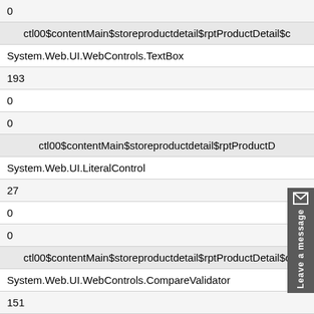0
ctl00$contentMain$storeproductdetail$rptProductDetail$c
System.Web.UI.WebControls.TextBox
193
0
0
ctl00$contentMain$storeproductdetail$rptProductD
System.Web.UI.LiteralControl
27
0
0
ctl00$contentMain$storeproductdetail$rptProductDetail$c
System.Web.UI.WebControls.CompareValidator
151
0